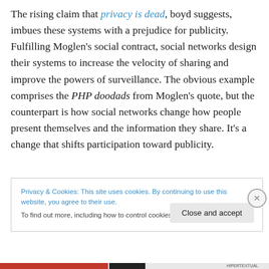The rising claim that privacy is dead, boyd suggests, imbues these systems with a prejudice for publicity. Fulfilling Moglen's social contract, social networks design their systems to increase the velocity of sharing and improve the powers of surveillance. The obvious example comprises the PHP doodads from Moglen's quote, but the counterpart is how social networks change how people present themselves and the information they share. It's a change that shifts participation toward publicity.
Privacy & Cookies: This site uses cookies. By continuing to use this website, you agree to their use. To find out more, including how to control cookies, see here: Cookie Policy